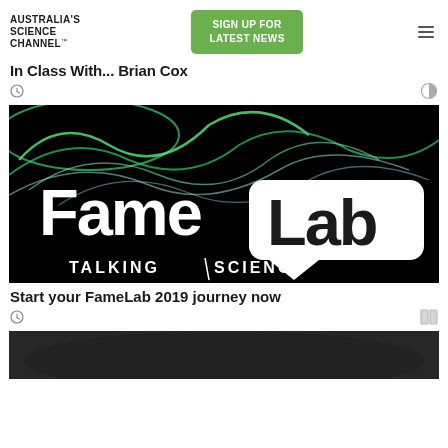[Figure (logo): Australia's Science Channel logo text in bold uppercase]
[Figure (other): Green Sign Up For Latest News button]
[Figure (other): Hamburger menu icon]
In Class With... Brian Cox
[Figure (photo): FameLab Talking Science promotional image with colourful smoke on black background and FameLab logo with speech bubble]
Start your FameLab 2019 journey now
[Figure (photo): Partially visible image at bottom of page]